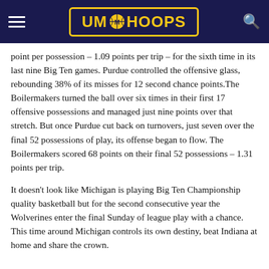UM HOOPS
point per possession – 1.09 points per trip – for the sixth time in its last nine Big Ten games. Purdue controlled the offensive glass, rebounding 38% of its misses for 12 second chance points.The Boilermakers turned the ball over six times in their first 17 offensive possessions and managed just nine points over that stretch. But once Purdue cut back on turnovers, just seven over the final 52 possessions of play, its offense began to flow. The Boilermakers scored 68 points on their final 52 possessions – 1.31 points per trip.
It doesn't look like Michigan is playing Big Ten Championship quality basketball but for the second consecutive year the Wolverines enter the final Sunday of league play with a chance. This time around Michigan controls its own destiny, beat Indiana at home and share the crown.